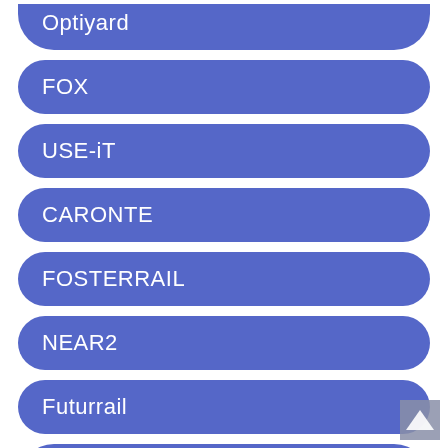Optiyard
FOX
USE-iT
CARONTE
FOSTERRAIL
NEAR2
Futurrail
ATTE